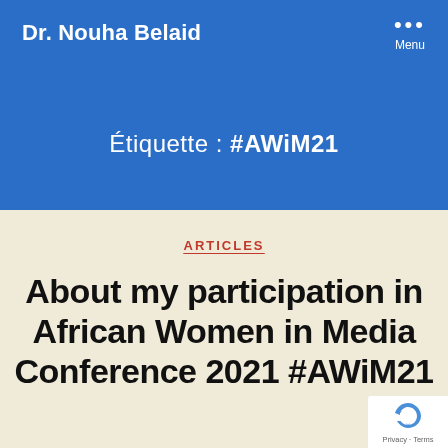Dr. Nouha Belaid
Menu
Étiquette : #AWiM21
ARTICLES
About my participation in African Women in Media Conference 2021 #AWiM21